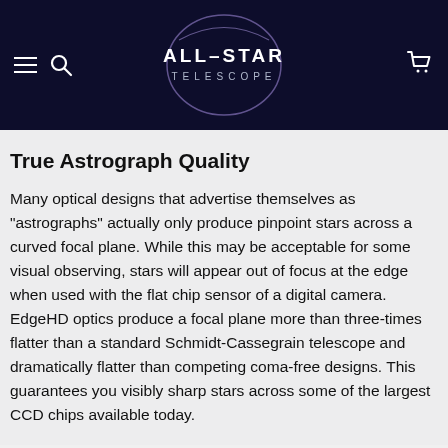ALL-STAR TELESCOPE
True Astrograph Quality
Many optical designs that advertise themselves as "astrographs" actually only produce pinpoint stars across a curved focal plane. While this may be acceptable for some visual observing, stars will appear out of focus at the edge when used with the flat chip sensor of a digital camera. EdgeHD optics produce a focal plane more than three-times flatter than a standard Schmidt-Cassegrain telescope and dramatically flatter than competing coma-free designs. This guarantees you visibly sharp stars across some of the largest CCD chips available today.